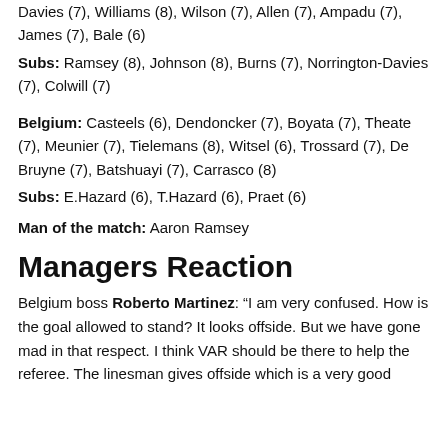Davies (7), Williams (8), Wilson (7), Allen (7), Ampadu (7), James (7), Bale (6)
Subs: Ramsey (8), Johnson (8), Burns (7), Norrington-Davies (7), Colwill (7)
Belgium: Casteels (6), Dendoncker (7), Boyata (7), Theate (7), Meunier (7), Tielemans (8), Witsel (6), Trossard (7), De Bruyne (7), Batshuayi (7), Carrasco (8)
Subs: E.Hazard (6), T.Hazard (6), Praet (6)
Man of the match: Aaron Ramsey
Managers Reaction
Belgium boss Roberto Martinez: “I am very confused. How is the goal allowed to stand? It looks offside. But we have gone mad in that respect. I think VAR should be there to help the referee. The linesman gives offside which is a very good...